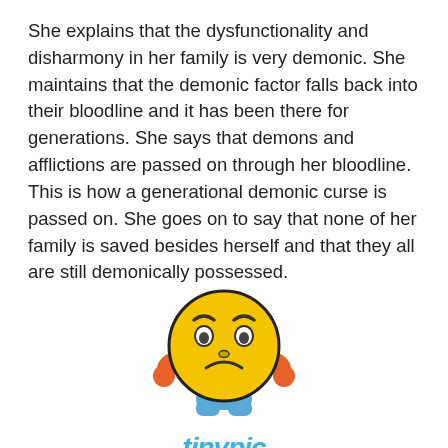She explains that the dysfunctionality and disharmony in her family is very demonic. She maintains that the demonic factor falls back into their bloodline and it has been there for generations. She says that demons and afflictions are passed on through her bloodline. This is how a generational demonic curse is passed on. She goes on to say that none of her family is saved besides herself and that they all are still demonically possessed.
[Figure (illustration): Tinypic watermark image: a sad yellow emoji face with orange hands on hips and blue feet/base, with the Tinypic logo below and the text 'This image is no longer available. Visit tinypic.com for more information.']